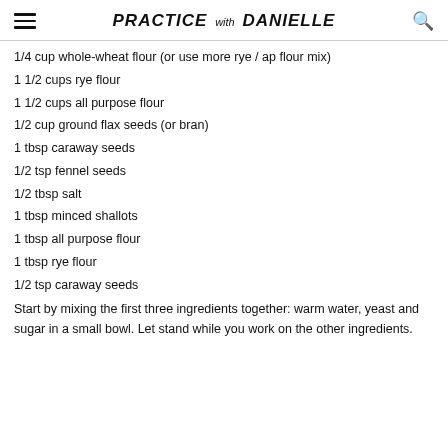PRACTICE with DANIELLE
1/4 cup whole-wheat flour (or use more rye / ap flour mix)
1 1/2 cups rye flour
1 1/2 cups all purpose flour
1/2 cup ground flax seeds (or bran)
1 tbsp caraway seeds
1/2 tsp fennel seeds
1/2 tbsp salt
1 tbsp minced shallots
1 tbsp all purpose flour
1 tbsp rye flour
1/2 tsp caraway seeds
Start by mixing the first three ingredients together: warm water, yeast and sugar in a small bowl. Let stand while you work on the other ingredients.